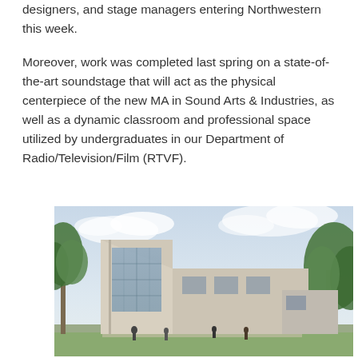designers, and stage managers entering Northwestern this week.
Moreover, work was completed last spring on a state-of-the-art soundstage that will act as the physical centerpiece of the new MA in Sound Arts & Industries, as well as a dynamic classroom and professional space utilized by undergraduates in our Department of Radio/Television/Film (RTVF).
[Figure (photo): Architectural rendering of a modern building exterior with large glass windows, surrounded by trees, with people walking outside. Light-colored concrete facade under a partly cloudy sky.]